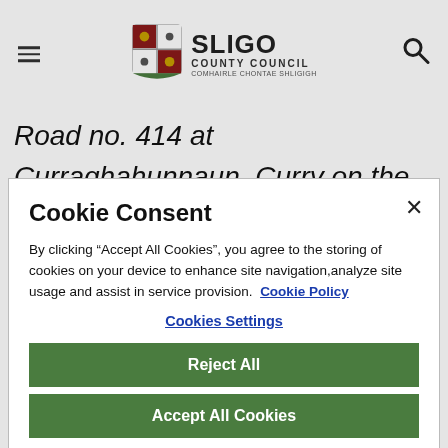Sligo County Council
Road no. 414 at Curraghahunnaun, Curry on the main Banada to Bellaghy road, in the interest of safety, for children crossing this very busy road to
Cookie Consent
By clicking “Accept All Cookies”, you agree to the storing of cookies on your device to enhance site navigation,analyze site usage and assist in service provision.  Cookie Policy
Cookies Settings
Reject All
Accept All Cookies